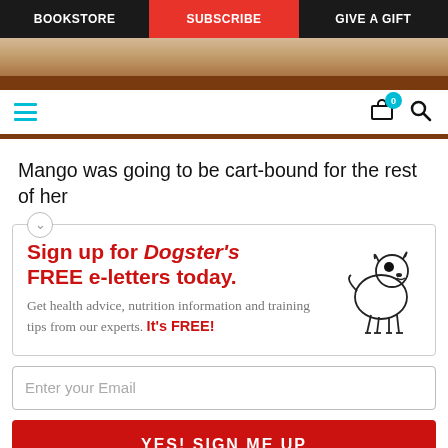BOOKSTORE | SUBSCRIBE | GIVE A GIFT
[Figure (photo): Hero image strip showing a person with a dog, partially visible]
[Figure (screenshot): Toolbar with hamburger menu icon in teal, shopping cart icon with badge showing 0, and search magnifier icon]
Mango was going to be cart-bound for the rest of her
[Figure (illustration): Promotional box: Sign up for Dogster's FREE e-letters today. Get health advice, nutrition information and training tips from our experts. It's FREE! With a cartoon dog illustration.]
Enter your Email
YES! SIGN ME UP